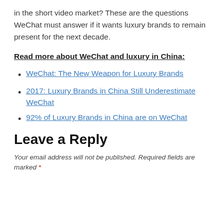in the short video market? These are the questions WeChat must answer if it wants luxury brands to remain present for the next decade.
Read more about WeChat and luxury in China:
WeChat: The New Weapon for Luxury Brands
2017: Luxury Brands in China Still Underestimate WeChat
92% of Luxury Brands in China are on WeChat
Leave a Reply
Your email address will not be published. Required fields are marked *